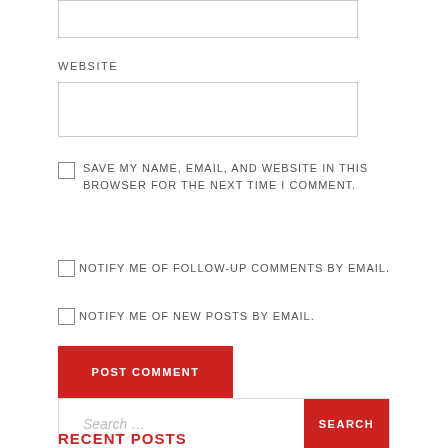[Figure (screenshot): Top partial input box (from previous form field)]
WEBSITE
[Figure (screenshot): Website URL text input field]
SAVE MY NAME, EMAIL, AND WEBSITE IN THIS BROWSER FOR THE NEXT TIME I COMMENT.
NOTIFY ME OF FOLLOW-UP COMMENTS BY EMAIL.
NOTIFY ME OF NEW POSTS BY EMAIL.
[Figure (screenshot): POST COMMENT button (red)]
[Figure (screenshot): Search bar with SEARCH button]
RECENT POSTS